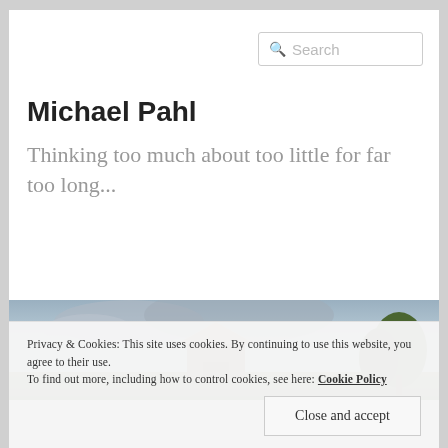Michael Pahl
Thinking too much about too little for far too long...
[Figure (photo): Panoramic photo showing a barn with a roof against a cloudy sky with trees on the right side]
Privacy & Cookies: This site uses cookies. By continuing to use this website, you agree to their use.
To find out more, including how to control cookies, see here: Cookie Policy
Close and accept